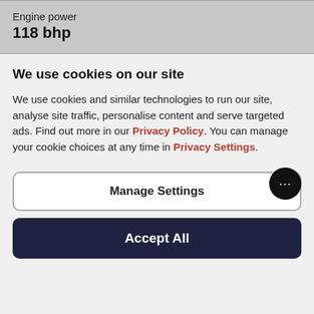Engine power
118 bhp
We use cookies on our site
We use cookies and similar technologies to run our site, analyse site traffic, personalise content and serve targeted ads. Find out more in our Privacy Policy. You can manage your cookie choices at any time in Privacy Settings.
Manage Settings
Accept All